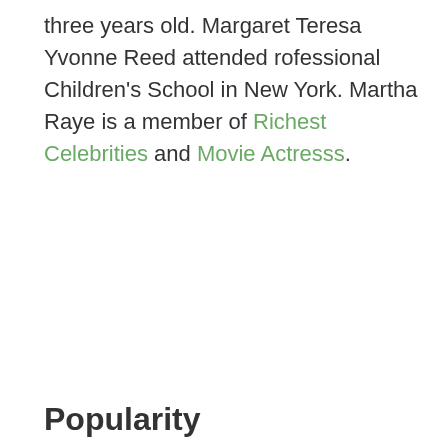three years old. Margaret Teresa Yvonne Reed attended rofessional Children's School in New York. Martha Raye is a member of Richest Celebrities and Movie Actresss.
Popularity